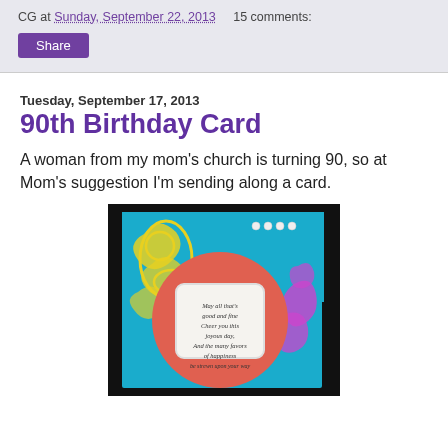CG at Sunday, September 22, 2013   15 comments:
Share
Tuesday, September 17, 2013
90th Birthday Card
A woman from my mom's church is turning 90, so at Mom's suggestion I'm sending along a card.
[Figure (photo): A handmade birthday card featuring a teal/turquoise background with yellow floral damask pattern, a large salmon/coral circle in the center with an embossed white square panel bearing a sentiment, and purple glittery flourishes on the right side. Pearl embellishments visible along the top.]